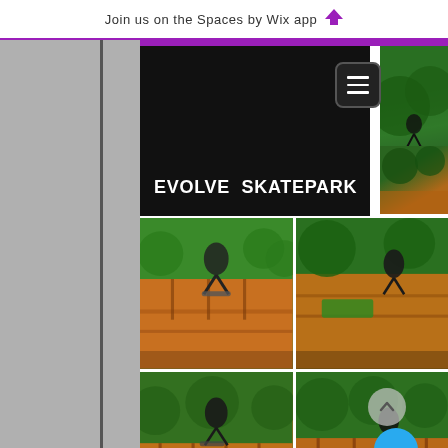Join us on the Spaces by Wix app
EVOLVE SKATEPARK
[Figure (screenshot): Mobile app screenshot of Evolve Skatepark website showing navigation header with hamburger menu, hero image with site title, grid of four skatepark action photos, and Spring Kickoff Skateboard Competition heading at bottom]
SPRING KICKOFF
SKATEBOARD COMPETITION